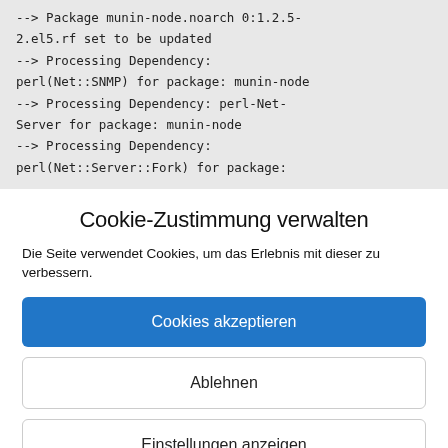--> Package munin-node.noarch 0:1.2.5-2.el5.rf set to be updated
--> Processing Dependency: perl(Net::SNMP) for package: munin-node
--> Processing Dependency: perl-Net-Server for package: munin-node
--> Processing Dependency: perl(Net::Server::Fork) for package:
Cookie-Zustimmung verwalten
Die Seite verwendet Cookies, um das Erlebnis mit dieser zu verbessern.
Cookies akzeptieren
Ablehnen
Einstellungen anzeigen